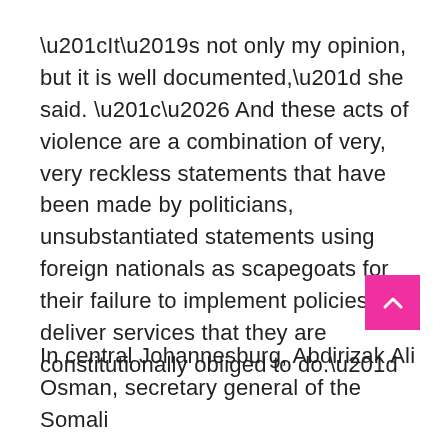“It’s not only my opinion, but it is well documented,” she said. “… And these acts of violence are a combination of very, very reckless statements that have been made by politicians, unsubstantiated statements using foreign nationals as scapegoats for their failure to implement policies and deliver services that they are constitutionally obliged to do.”
In central Johannesburg, Abdirizak Ali Osman, secretary general of the Somali